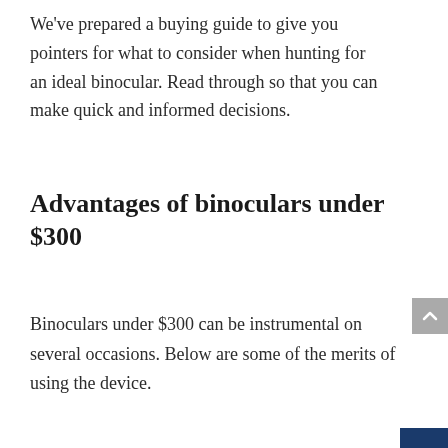We've prepared a buying guide to give you pointers for what to consider when hunting for an ideal binocular. Read through so that you can make quick and informed decisions.
Advantages of binoculars under $300
Binoculars under $300 can be instrumental on several occasions. Below are some of the merits of using the device.